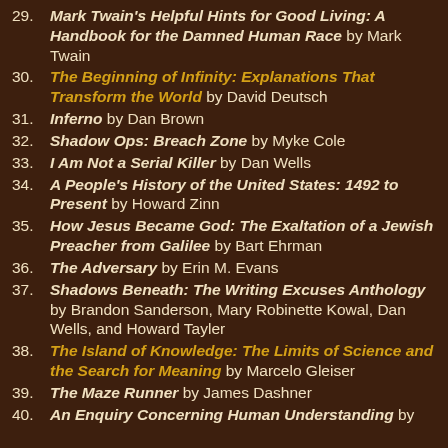29. Mark Twain's Helpful Hints for Good Living: A Handbook for the Damned Human Race by Mark Twain
30. The Beginning of Infinity: Explanations That Transform the World by David Deutsch
31. Inferno by Dan Brown
32. Shadow Ops: Breach Zone by Myke Cole
33. I Am Not a Serial Killer by Dan Wells
34. A People's History of the United States: 1492 to Present by Howard Zinn
35. How Jesus Became God: The Exaltation of a Jewish Preacher from Galilee by Bart Ehrman
36. The Adversary by Erin M. Evans
37. Shadows Beneath: The Writing Excuses Anthology by Brandon Sanderson, Mary Robinette Kowal, Dan Wells, and Howard Tayler
38. The Island of Knowledge: The Limits of Science and the Search for Meaning by Marcelo Gleiser
39. The Maze Runner by James Dashner
40. An Enquiry Concerning Human Understanding by